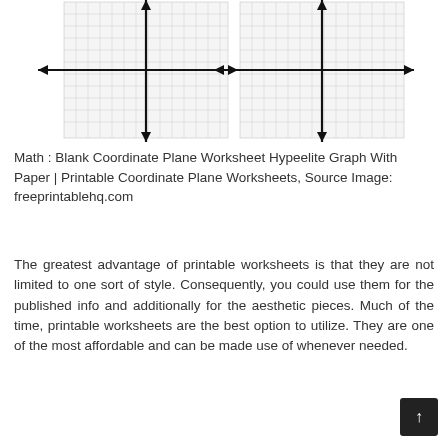[Figure (other): Two blank coordinate plane grids side by side, each with x and y axes drawn with arrows, overlaid on graph paper grids.]
Math : Blank Coordinate Plane Worksheet Hypeelite Graph With Paper | Printable Coordinate Plane Worksheets, Source Image: freeprintablehq.com
The greatest advantage of printable worksheets is that they are not limited to one sort of style. Consequently, you could use them for the published info and additionally for the aesthetic pieces. Much of the time, printable worksheets are the best option to utilize. They are one of the most affordable and can be made use of whenever needed.